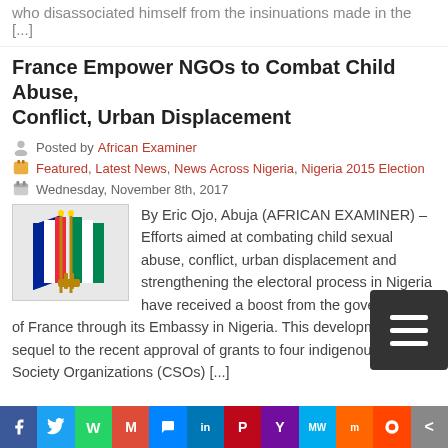who disassociated himself from the insinuations made in the [...]
France Empower NGOs to Combat Child Abuse, Conflict, Urban Displacement
Posted by African Examiner
Featured, Latest News, News Across Nigeria, Nigeria 2015 Election
Wednesday, November 8th, 2017
[Figure (photo): French and Nigerian flags crossed]
By Eric Ojo, Abuja (AFRICAN EXAMINER) – Efforts aimed at combating child sexual abuse, conflict, urban displacement and strengthening the electoral process in Nigeria have received a boost from the government of France through its Embassy in Nigeria. This development is sequel to the recent approval of grants to four indigenous Civil Society Organizations (CSOs) [...]
Enugu LGA Polls: APC Drags INEC, ENSIEC to Court
Posted by African Examiner
Featured, Latest News, News Across Nigeria, News From The State,
[Figure (infographic): Social media share bar with icons: Facebook, Twitter, WhatsApp, Gmail, Messenger, LinkedIn, Pinterest, Yahoo, MW, Mix, Reddit, More]